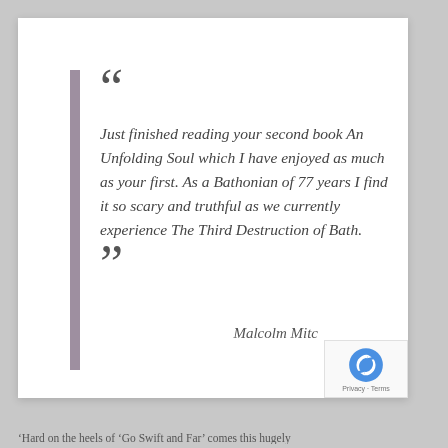“Just finished reading your second book An Unfolding Soul which I have enjoyed as much as your first. As a Bathonian of 77 years I find it so scary and truthful as we currently experience The Third Destruction of Bath.”
Malcolm Mitc
‘Hard on the heels of ‘Go Swift and Far’ comes this hugely